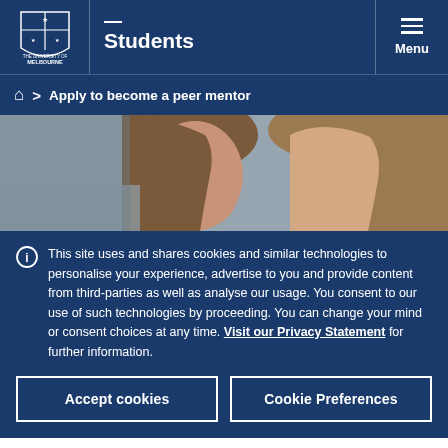Students
Apply to become a peer mentor
[Figure (photo): Side profile photo of two young women with brown hair, one in foreground and one slightly behind, in an indoor setting]
This site uses and shares cookies and similar technologies to personalise your experience, advertise to you and provide content from third-parties as well as analyse our usage. You consent to our use of such technologies by proceeding. You can change your mind or consent choices at any time. Visit our Privacy Statement for further information.
Accept cookies
Cookie Preferences